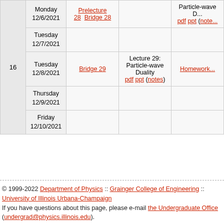| Week | Date | Prelecture/Bridge | Lecture | Discussion/Lab | Homework |
| --- | --- | --- | --- | --- | --- |
|  | Monday 12/6/2021 | Prelecture 28  Bridge 28 |  | Particle-wave D... | pdf ppt (note... |
|  | Tuesday 12/7/2021 |  |  |  |  |
| 16 | Tuesday 12/8/2021 | Bridge 29 | Lecture 29: Particle-wave Duality pdf ppt (notes) |  | Homework... |
|  | Thursday 12/9/2021 |  |  |  |  |
|  | Friday 12/10/2021 |  |  |  |  |
© 1999-2022 Department of Physics :: Grainger College of Engineering :: University of Illinois Urbana-Champaign
If you have questions about this page, please e-mail the Undergraduate Office (undergrad@physics.illinois.edu).